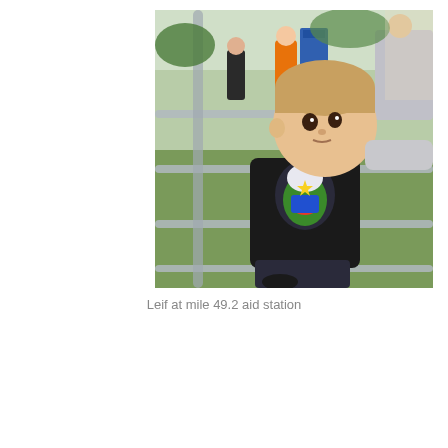[Figure (photo): A young toddler boy with blonde hair wearing a dark graphic t-shirt (appears to show Buzz Lightyear from Toy Story) stands near metal railing/bleachers at an outdoor event. In the background, adults are visible including one in an orange vest, on green grass with trees. The setting appears to be a race aid station on a sunny day.]
Leif at mile 49.2 aid station